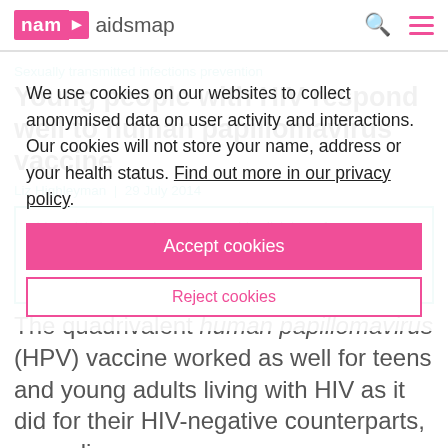nam aidsmap
We use cookies on our websites to collect anonymised data on user activity and interactions. Our cookies will not store your name, address or your health status. Find out more in our privacy policy.
Accept cookies
Reject cookies
Sexually transmitted infections prevention
Young people with HIV respond well to human papillomavirus vaccine
Liz Highleyman | 29 July 2014
This article is more than 8 years old. Click here for more recent articles on this topic
The quadrivalent human papillomavirus (HPV) vaccine worked as well for teens and young adults living with HIV as it did for their HIV-negative counterparts, according